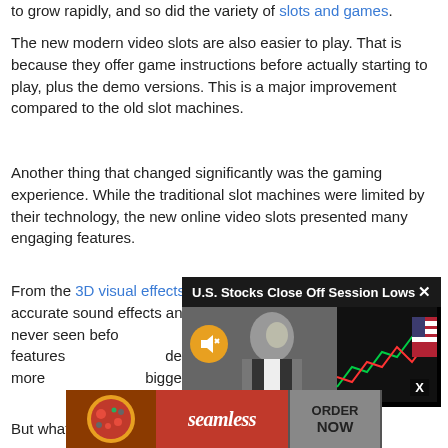to grow rapidly, and so did the variety of slots and games.
The new modern video slots are also easier to play. That is because they offer game instructions before actually starting to play, plus the demo versions. This is a major improvement compared to the old slot machines.
Another thing that changed significantly was the gaming experience. While the traditional slot machines were limited by their technology, the new online video slots presented many engaging features.
From the 3D visual effects and the animations to the incredibly accurate sound effects and [ad overlay] experience never seen before [ad overlay] enjoy more gaming features [ad overlay] development bringing more [ad overlay] bigger prizes on the table.
[Figure (screenshot): Pop-up news ad overlay: 'U.S. Stocks Close Off Session Lows' with photo of man on trading floor, mute button, and close X button]
[Figure (screenshot): Bottom ad for Seamless food delivery with pizza image, seamless logo, and ORDER NOW button]